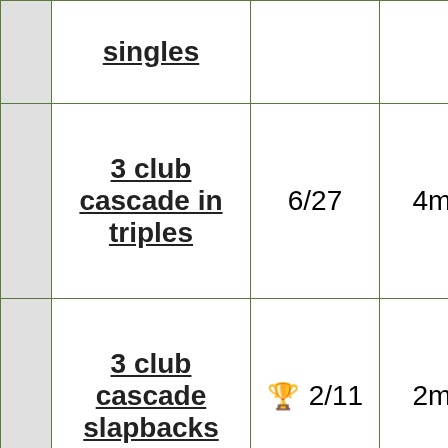|  | Trick | Score | Time |
| --- | --- | --- | --- |
|  | singles |  |  |
|  | 3 club cascade in triples | 6/27 | 4m |
|  | 3 club cascade slapbacks | 🏆 2/11 | 2m |
|  | 3 club |  |  |